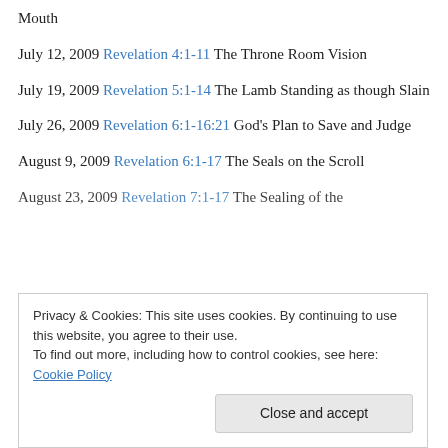Mouth
July 12, 2009 Revelation 4:1-11 The Throne Room Vision
July 19, 2009 Revelation 5:1-14 The Lamb Standing as though Slain
July 26, 2009 Revelation 6:1-16:21 God's Plan to Save and Judge
August 9, 2009 Revelation 6:1-17 The Seals on the Scroll
August 23, 2009 Revelation 7:1-17 The Sealing of the
Privacy & Cookies: This site uses cookies. By continuing to use this website, you agree to their use. To find out more, including how to control cookies, see here: Cookie Policy